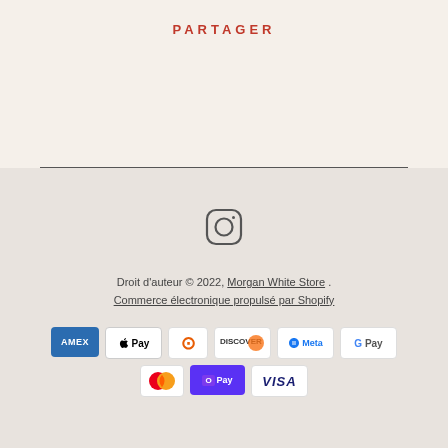PARTAGER
[Figure (logo): Instagram icon (rounded square with circle inside)]
Droit d'auteur © 2022, Morgan White Store . Commerce électronique propulsé par Shopify
[Figure (other): Payment method logos: AMEX, Apple Pay, Diners Club, Discover, Meta Pay, Google Pay, Mastercard, Shop Pay, Visa]